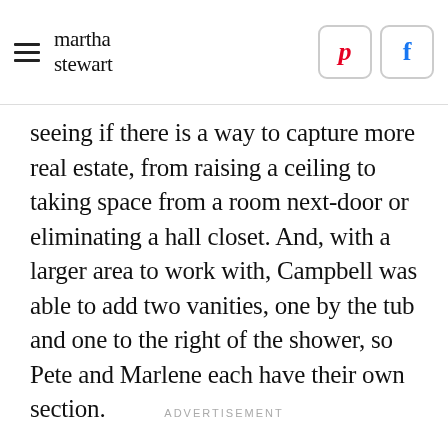martha stewart
seeing if there is a way to capture more real estate, from raising a ceiling to taking space from a room next-door or eliminating a hall closet. And, with a larger area to work with, Campbell was able to add two vanities, one by the tub and one to the right of the shower, so Pete and Marlene each have their own section.
ADVERTISEMENT